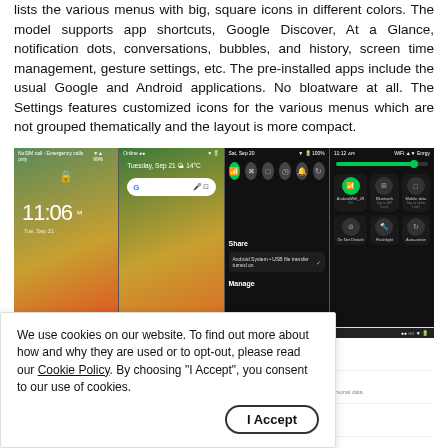lists the various menus with big, square icons in different colors. The model supports app shortcuts, Google Discover, At a Glance, notification dots, conversations, bubbles, and history, screen time management, gesture settings, etc. The pre-installed apps include the usual Google and Android applications. No bloatware at all. The Settings features customized icons for the various menus which are not grouped thematically and the layout is more compact.
[Figure (screenshot): Four smartphone screenshots showing lock screen with 11:06 time, home screen with Tuesday Sep 21 14°C, notification panel with quick settings tiles, and quick settings panel with brightness slider and toggle icons including WiFi, Bluetooth, Mobile data, Do Not Disturb, Flashlight, Auto-rotate.]
[Figure (screenshot): Partial screenshot of Android Settings app showing Storage, Privacy, Location, and Security menu items with colored icons on white background.]
We use cookies on our website. To find out more about how and why they are used or to opt-out, please read our Cookie Policy. By choosing "I Accept", you consent to our use of cookies.